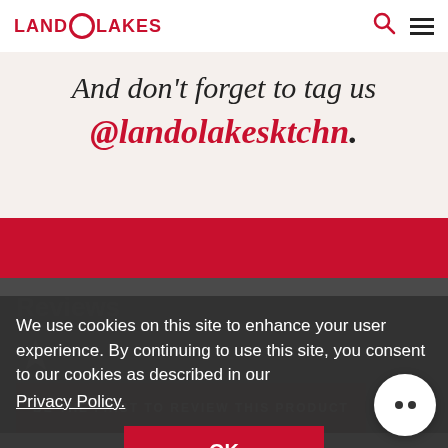LAND O LAKES
And don't forget to tag us
@landolakesktchn.
[Figure (other): Red horizontal banner]
Reviews
[Figure (other): Large star rating placeholder]
BE THE FIRST TO REVIEW THIS PRODUCT
We use cookies on this site to enhance your user experience. By continuing to use this site, you consent to our cookies as described in our Privacy Policy.
OK